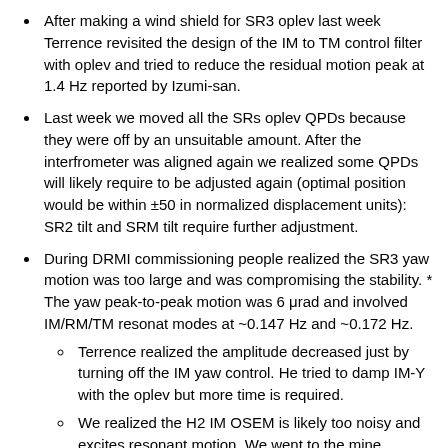After making a wind shield for SR3 oplev last week Terrence revisited the design of the IM to TM control filter with oplev and tried to reduce the residual motion peak at 1.4 Hz reported by Izumi-san.
Last week we moved all the SRs oplev QPDs because they were off by an unsuitable amount. After the interfrometer was aligned again we realized some QPDs will likely require to be adjusted again (optimal position would be within ±50 in normalized displacement units): SR2 tilt and SRM tilt require further adjustment.
During DRMI commissioning people realized the SR3 yaw motion was too large and was compromising the stability. * The yaw peak-to-peak motion was 6 μrad and involved IM/RM/TM resonat modes at ~0.147 Hz and ~0.172 Hz.
Terrence realized the amplitude decreased just by turning off the IM yaw control. He tried to damp IM-Y with the oplev but more time is required.
We realized the H2 IM OSEM is likely too noisy and excites resonant motion. We went to the mine, checked the LED current monitor but couldn't find anything obviously wrong using the oscilloscope. More investigation is needed.
Enomoto-kun pointed out that the IM2TM oplev DC control might be marginally stable. Terrence measure